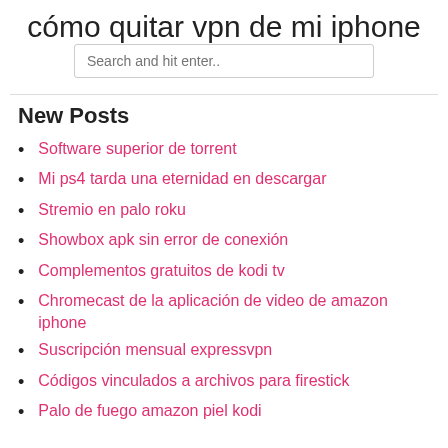cómo quitar vpn de mi iphone
Search and hit enter..
New Posts
Software superior de torrent
Mi ps4 tarda una eternidad en descargar
Stremio en palo roku
Showbox apk sin error de conexión
Complementos gratuitos de kodi tv
Chromecast de la aplicación de video de amazon iphone
Suscripción mensual expressvpn
Códigos vinculados a archivos para firestick
Palo de fuego amazon piel kodi